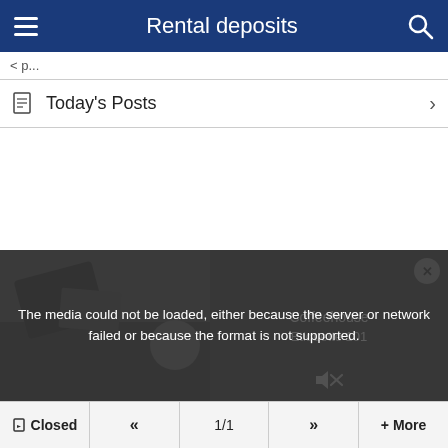Rental deposits
Today's Posts
[Figure (screenshot): Media player area showing a photo on the left and a video overlay on the right with 'Coffeehouse Etiquette 101' title and a media error message: 'The media could not be loaded, either because the server or network failed or because the format is not supported.']
Closed   «   1/1   »   + More